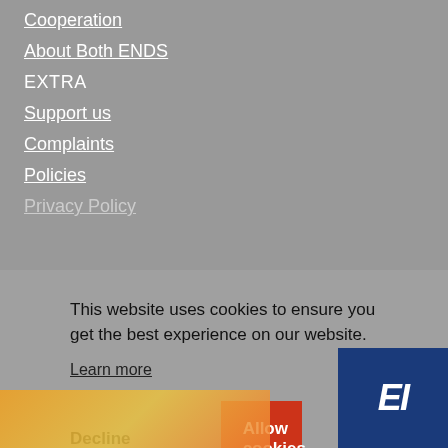Cooperation
About Both ENDS
EXTRA
Support us
Complaints
Policies
Privacy Policy
This website uses cookies to ensure you get the best experience on our website.
Learn more
Decline
Allow cookies
[Figure (photo): Bottom strip with colorful images visible at the bottom edge of the page]